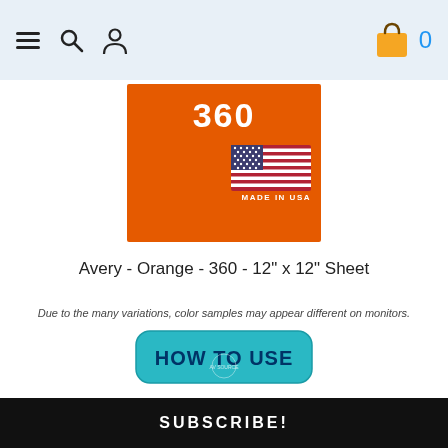Navigation bar with menu, search, user icons and shopping cart (0 items)
[Figure (photo): Orange product label showing '360' in white text with US flag and 'MADE IN USA' text on orange background]
Avery - Orange - 360 - 12" x 12" Sheet
Due to the many variations, color samples may appear different on monitors.
[Figure (other): Teal 'HOW TO USE' button with rounded corners and AV Source watermark]
$0.55
Qty  1  ADD TO CART
SUBSCRIBE!